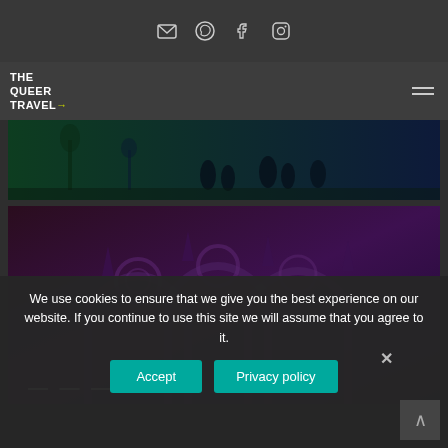Social media icons: email, WhatsApp, Facebook, Instagram
[Figure (logo): THE QUEER TRAVEL logo with arrow and hamburger menu icon]
[Figure (photo): Dark green-to-blue tinted street scene with silhouettes of people walking]
[Figure (photo): Dark purple-tinted ornate building architecture with Gothic details, partial text visible at bottom]
We use cookies to ensure that we give you the best experience on our website. If you continue to use this site we will assume that you agree to it.
Accept | Privacy policy